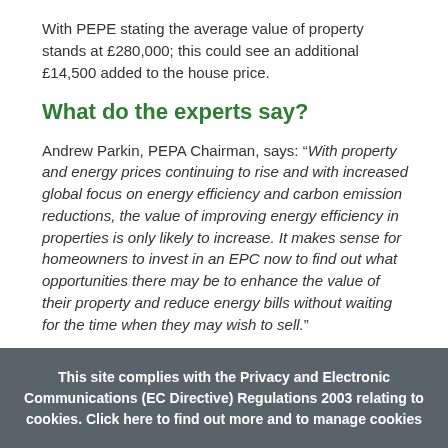With PEPE stating the average value of property stands at £280,000; this could see an additional £14,500 added to the house price.
What do the experts say?
Andrew Parkin, PEPA Chairman, says: “With property and energy prices continuing to rise and with increased global focus on energy efficiency and carbon emission reductions, the value of improving energy efficiency in properties is only likely to increase. It makes sense for homeowners to invest in an EPC now to find out what opportunities there may be to enhance the value of their property and reduce energy bills without waiting for the time when they may wish to sell.”
Andrew Harvey, senior economist at Nationwide, said: “Decarbonising and adapting the UK’s housing stock is critical if the UK is to meet its 2050 emissions targets.
This site complies with the Privacy and Electronic Communications (EC Directive) Regulations 2003 relating to cookies. Click here to find out more and to manage cookies